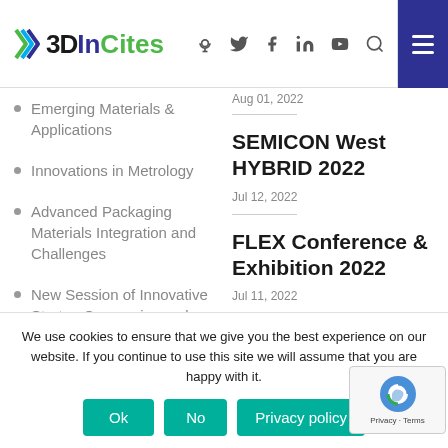3DInCites
Emerging Materials & Applications
Innovations in Metrology
Advanced Packaging Materials Integration and Challenges
New Session of Innovative Startup Companies and
Aug 01, 2022
SEMICON West HYBRID 2022
Jul 12, 2022
FLEX Conference & Exhibition 2022
Jul 11, 2022
We use cookies to ensure that we give you the best experience on our website. If you continue to use this site we will assume that you are happy with it.